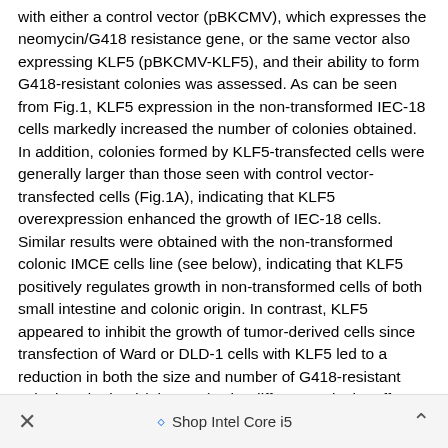with either a control vector (pBKCMV), which expresses the neomycin/G418 resistance gene, or the same vector also expressing KLF5 (pBKCMV-KLF5), and their ability to form G418-resistant colonies was assessed. As can be seen from Fig.1, KLF5 expression in the non-transformed IEC-18 cells markedly increased the number of colonies obtained. In addition, colonies formed by KLF5-transfected cells were generally larger than those seen with control vector-transfected cells (Fig.1A), indicating that KLF5 overexpression enhanced the growth of IEC-18 cells. Similar results were obtained with the non-transformed colonic IMCE cells line (see below), indicating that KLF5 positively regulates growth in non-transformed cells of both small intestine and colonic origin. In contrast, KLF5 appeared to inhibit the growth of tumor-derived cells since transfection of Ward or DLD-1 cells with KLF5 led to a reduction in both the size and number of G418-resistant colonies obtained (Fig.1A,B). The differences in the effects of transfection with KLF5 expression vectors in normal and tumor-derived cell lines cannot be attributed to differences in plasmid preparations or transfection efficiency of individual cell lines because (a) data are from experiments in which IEC-18 cells and tumor-derived cells...
Shop Intel Core i5